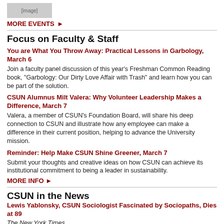[Figure (photo): Small thumbnail image of people or event]
MORE EVENTS ▶
Focus on Faculty & Staff
You are What You Throw Away: Practical Lessons in Garbology, March 6
Join a faculty panel discussion of this year's Freshman Common Reading book, "Garbology: Our Dirty Love Affair with Trash" and learn how you can be part of the solution.
CSUN Alumnus Milt Valera: Why Volunteer Leadership Makes a Difference, March 7
Valera, a member of CSUN's Foundation Board, will share his deep connection to CSUN and illustrate how any employee can make a difference in their current position, helping to advance the University mission.
Reminder: Help Make CSUN Shine Greener, March 7
Submit your thoughts and creative ideas on how CSUN can achieve its institutional commitment to being a leader in sustainability.
MORE INFO ▶
CSUN in the News
Lewis Yablonsky, CSUN Sociologist Fascinated by Sociopaths, Dies at 89
The New York Times